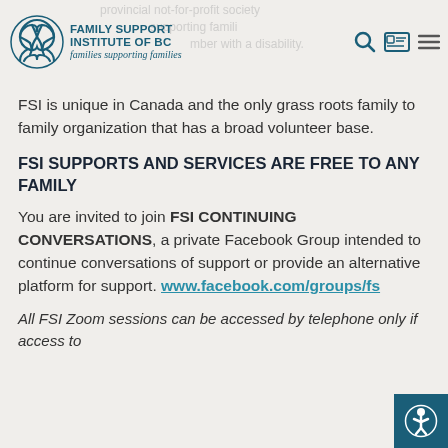[Figure (logo): Family Support Institute of BC logo with Celtic knot and tagline 'families supporting families']
provincial not-for-profit society
supporting families to
member with a disability.
FSI is unique in Canada and the only grass roots family to family organization that has a broad volunteer base.
FSI SUPPORTS AND SERVICES ARE FREE TO ANY FAMILY
You are invited to join FSI CONTINUING CONVERSATIONS, a private Facebook Group intended to continue conversations of support or provide an alternative platform for support. www.facebook.com/groups/fs
All FSI Zoom sessions can be accessed by telephone only if access to